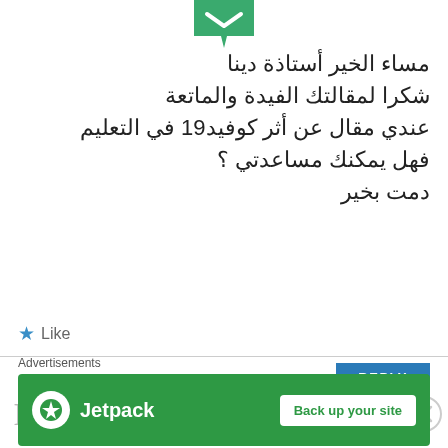[Figure (logo): Green envelope/avatar icon at top center]
مساء الخير أستاذة دينا
شكرا لمقالتك الفيدة والماتعة
عندي مقال عن أثر كوفيد19 في التعليم
فهل يمكنك مساعدتي ؟
دمت بخير
★ Like
REPLY
Leave a Reply
Advertisements
[Figure (logo): Jetpack advertisement banner with Back up your site button]